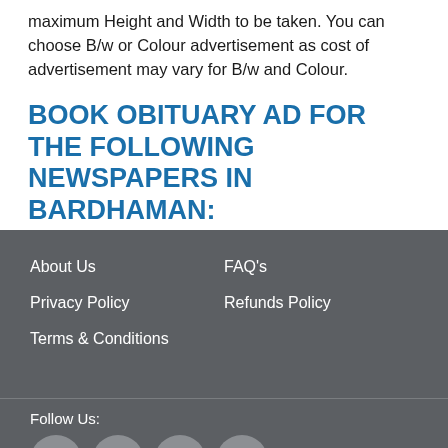maximum Height and Width to be taken. You can choose B/w or Colour advertisement as cost of advertisement may vary for B/w and Colour.
BOOK OBITUARY AD FOR THE FOLLOWING NEWSPAPERS IN BARDHAMAN:
About Us
FAQ's
Privacy Policy
Refunds Policy
Terms & Conditions
Follow Us:
[Figure (illustration): Social media icons: Facebook, Twitter, LinkedIn, YouTube — circular grey buttons]